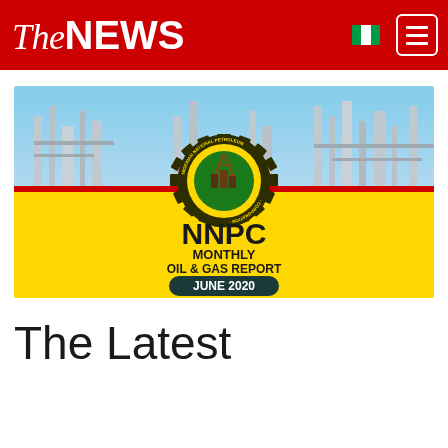TheNEWS
[Figure (illustration): NNPC Monthly Oil & Gas Report June 2020 cover image. Top half shows an oil refinery/industrial plant against a blue sky. Bottom half is yellow with the NNPC logo (gear with green circle and oil derrick), text 'NNPC MONTHLY OIL & GAS REPORT' and 'JUNE 2020' in a dark teal banner, plus a DOWNLOAD button with a hand cursor icon.]
The Latest